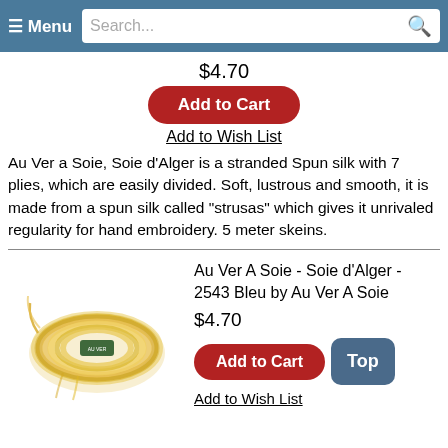≡ Menu  Search...
$4.70
Add to Cart
Add to Wish List
Au Ver a Soie, Soie d'Alger is a stranded Spun silk with 7 plies, which are easily divided. Soft, lustrous and smooth, it is made from a spun silk called "strusas" which gives it unrivaled regularity for hand embroidery. 5 meter skeins.
[Figure (photo): A skein of golden-yellow silk embroidery thread by Au Ver A Soie]
Au Ver A Soie - Soie d'Alger - 2543 Bleu by Au Ver A Soie
$4.70
Add to Cart
Top
Add to Wish List